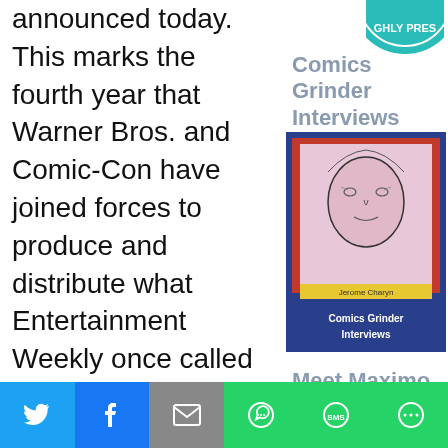announced today. This marks the fourth year that Warner Bros. and Comic-Con have joined forces to produce and distribute what Entertainment Weekly once called the convention's “ubiquitous accessory,” ensuring that attendees have a unique
[Figure (illustration): Partial circular badge/seal with text 'GHLY PRES' visible at top right]
Comics Grinder Interviews
[Figure (illustration): Book cover: Comics Grinder Interviews featuring Jerome Charyn - illustrated portrait of a man on red and blue background]
Meet Maximo
[Figure (illustration): Partial book/comic cover showing MAX text in red letters]
Social share bar with Twitter, Facebook, Email, WhatsApp, SMS, and More buttons